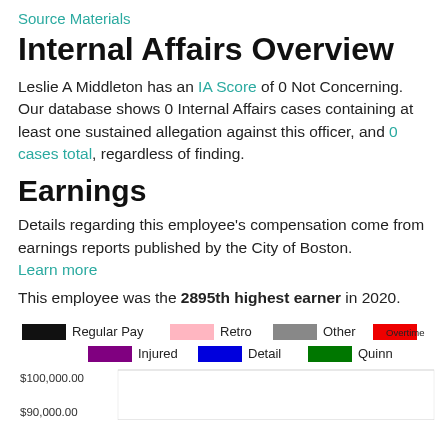Source Materials
Internal Affairs Overview
Leslie A Middleton has an IA Score of 0 Not Concerning. Our database shows 0 Internal Affairs cases containing at least one sustained allegation against this officer, and 0 cases total, regardless of finding.
Earnings
Details regarding this employee's compensation come from earnings reports published by the City of Boston.
Learn more
This employee was the 2895th highest earner in 2020.
[Figure (bar-chart): Bar chart showing earnings categories: Regular Pay (black), Retro (pink), Other (gray), Overtime (red), Injured (purple), Detail (blue), Quinn (green). Y-axis shows $100,000.00 and $90,000.00 visible at bottom of page.]